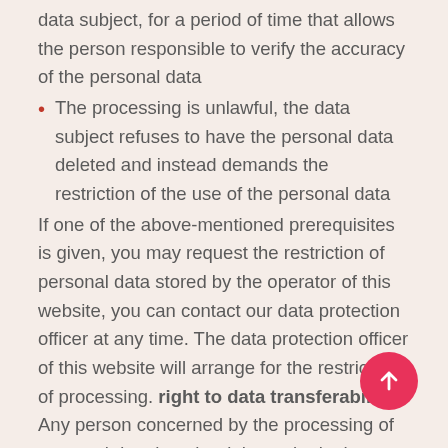data subject, for a period of time that allows the person responsible to verify the accuracy of the personal data
The processing is unlawful, the data subject refuses to have the personal data deleted and instead demands the restriction of the use of the personal data
If one of the above-mentioned prerequisites is given, you may request the restriction of personal data stored by the operator of this website, you can contact our data protection officer at any time. The data protection officer of this website will arrange for the restriction of processing. right to data transferability Any person concerned by the processing of personal data has the right to obtain the personal data concerning him/her in a structured, standard and machine-readable format. He/she also has the right to have these data communicated to another controller, if the legal requirements are met. Furthermore, the data subject has the right to obtain that the personal data be transferred